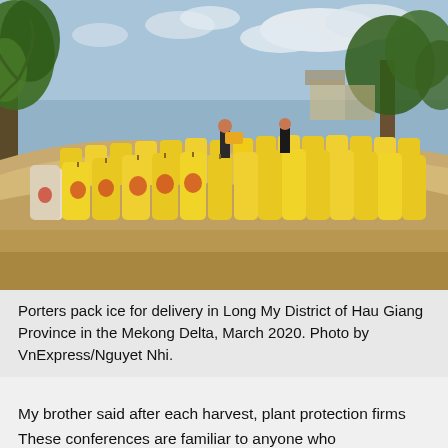[Figure (photo): Porters working alongside rows of large yellow sacks filled with rice/grain piled on a sandy mound near a waterway, with palm trees and buildings visible in background. Mekong Delta, Vietnam, March 2020.]
Porters pack ice for delivery in Long My District of Hau Giang Province in the Mekong Delta, March 2020. Photo by VnExpress/Nguyet Nhi.
My brother said after each harvest, plant protection firms would send staff to each hamlet and commune to organize "conferences."
These conferences are familiar to anyone who